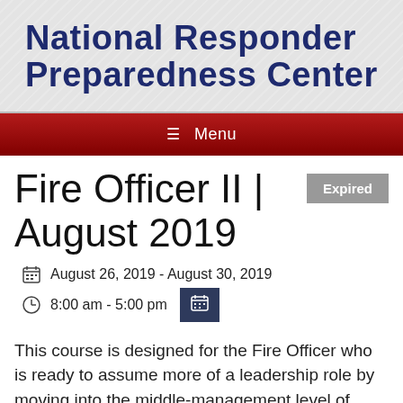National Responder Preparedness Center
Menu
Fire Officer II | August 2019
Expired
August 26, 2019 - August 30, 2019
8:00 am - 5:00 pm
This course is designed for the Fire Officer who is ready to assume more of a leadership role by moving into the middle-management level of his/her department. This